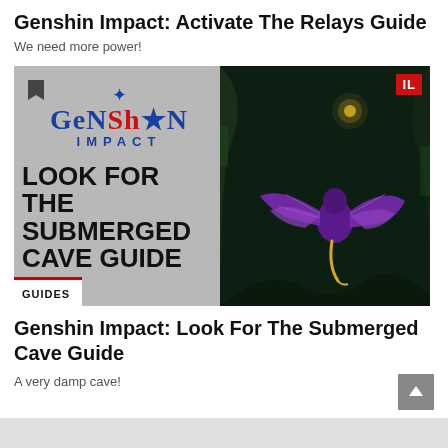Genshin Impact: Activate The Relays Guide
We need more power!
[Figure (screenshot): Two-panel image. Left panel: Genshin Impact logo and 'LOOK FOR THE SUBMERGED CAVE GUIDE' text on gray background with GUIDES badge. Right panel: dark cave screenshot with purple winged creature and 'IL' badge in red.]
GUIDES
Genshin Impact: Look For The Submerged Cave Guide
A very damp cave!